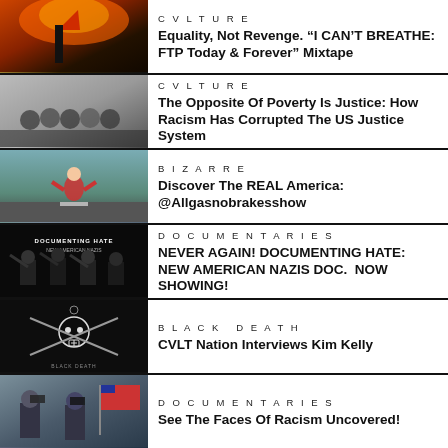[Figure (photo): Person running with American flag in front of fire/burning building]
CVLTURE
Equality, Not Revenge. “I CAN’T BREATHE: FTP Today & Forever” Mixtape
[Figure (photo): Black and white photo of crowd in white clothing/robes]
CVLTURE
The Opposite Of Poverty Is Justice: How Racism Has Corrupted The US Justice System
[Figure (photo): Person in American flag outfit giving thumbs up on road]
BIZARRE
Discover The REAL America: @Allgasnobrakesshow
[Figure (photo): Documenting Hate: New American Nazis documentary image with masked figures]
DOCUMENTARIES
NEVER AGAIN! DOCUMENTING HATE: NEW AMERICAN NAZIS DOC.  NOW SHOWING!
[Figure (photo): Black Death band logo with skull and crossbones imagery]
BLACK DEATH
CVLT Nation Interviews Kim Kelly
[Figure (photo): People with face coverings at rally]
DOCUMENTARIES
See The Faces Of Racism Uncovered!